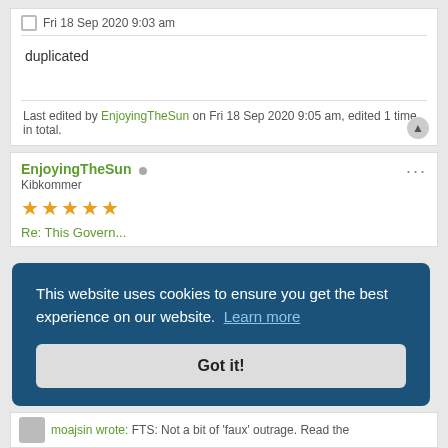Fri 18 Sep 2020 9:03 am
duplicated
Last edited by EnjoyingTheSun on Fri 18 Sep 2020 9:05 am, edited 1 time in total.
EnjoyingTheSun  Kibkommer  ★★★★★
This website uses cookies to ensure you get the best experience on our website. Learn more
Got it!
FTS: Not a bit of 'faux' outrage. Read the